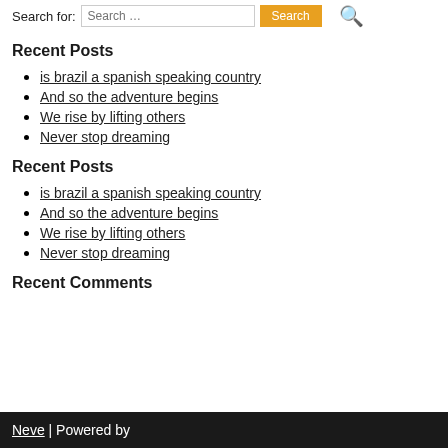Search for: Search ... Search
Recent Posts
is brazil a spanish speaking country
And so the adventure begins
We rise by lifting others
Never stop dreaming
Recent Posts
is brazil a spanish speaking country
And so the adventure begins
We rise by lifting others
Never stop dreaming
Recent Comments
Neve | Powered by